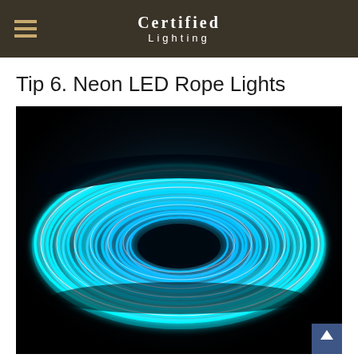Certified Lighting
Tip 6. Neon LED Rope Lights
[Figure (photo): A coiled cyan/blue glowing neon LED rope light photographed against a dark black background, forming a spiral torus shape with bright cyan tubes.]